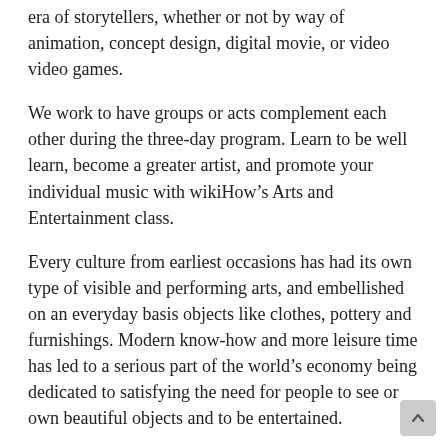era of storytellers, whether or not by way of animation, concept design, digital movie, or video video games.
We work to have groups or acts complement each other during the three-day program. Learn to be well learn, become a greater artist, and promote your individual music with wikiHow’s Arts and Entertainment class.
Every culture from earliest occasions has had its own type of visible and performing arts, and embellished on an everyday basis objects like clothes, pottery and furnishings. Modern know-how and more leisure time has led to a serious part of the world’s economy being dedicated to satisfying the need for people to see or own beautiful objects and to be entertained.
You will work with award-winning college and highprofile visitor audio system with many years of skilled experience to hone your artistic skills. Hands-on instruction is provided in state-of-the-art